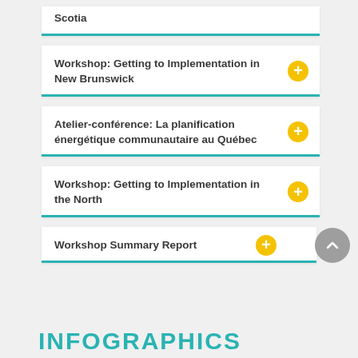Scotia
Workshop: Getting to Implementation in New Brunswick
Atelier-conférence: La planification énergétique communautaire au Québec
Workshop: Getting to Implementation in the North
Workshop Summary Report
INFOGRAPHICS